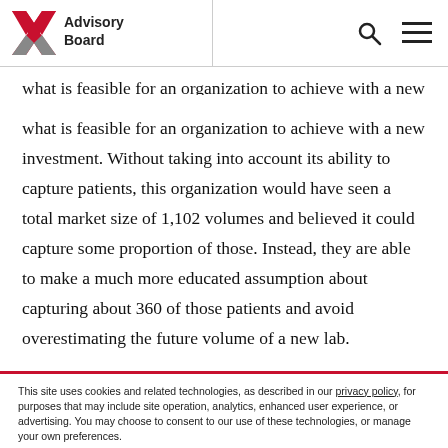Advisory Board
what is feasible for an organization to achieve with a new investment. Without taking into account its ability to capture patients, this organization would have seen a total market size of 1,102 volumes and believed it could capture some proportion of those. Instead, they are able to make a much more educated assumption about capturing about 360 of those patients and avoid overestimating the future volume of a new lab.
This site uses cookies and related technologies, as described in our privacy policy, for purposes that may include site operation, analytics, enhanced user experience, or advertising. You may choose to consent to our use of these technologies, or manage your own preferences.
Manage Preferences
Accept All